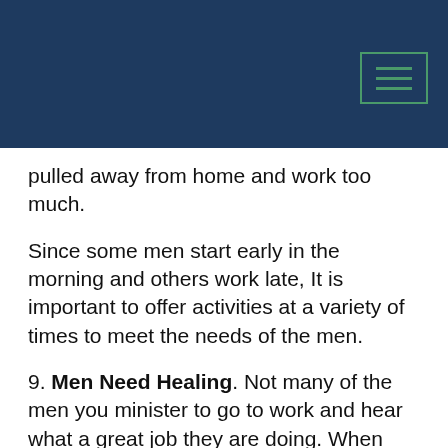pulled away from home and work too much.
Since some men start early in the morning and others work late, It is important to offer activities at a variety of times to meet the needs of the men.
9. Men Need Healing. Not many of the men you minister to go to work and hear what a great job they are doing. When they get home their kids don't usually say what a great dad they have and thank him for working all day long so they can have a roof over their head and food to eat. Later that evening their wives probably won't applaud their performance as a dad or a husband. No, most of the